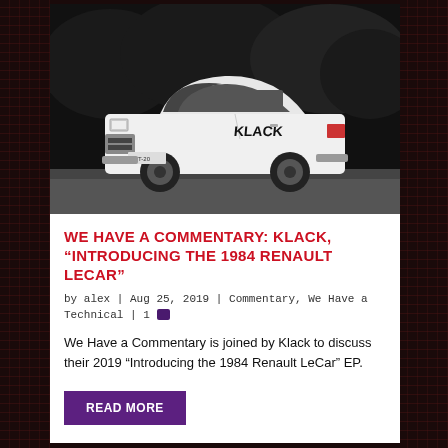[Figure (photo): Black and white high-contrast photo of a small white hatchback car (Renault LeCar) with 'KLACK' written on the side, parked outdoors. License plate reads KPT-20.]
WE HAVE A COMMENTARY: KLACK, "INTRODUCING THE 1984 RENAULT LECAR"
by alex | Aug 25, 2019 | Commentary, We Have a Technical | 1
We Have a Commentary is joined by Klack to discuss their 2019 "Introducing the 1984 Renault LeCar" EP.
READ MORE